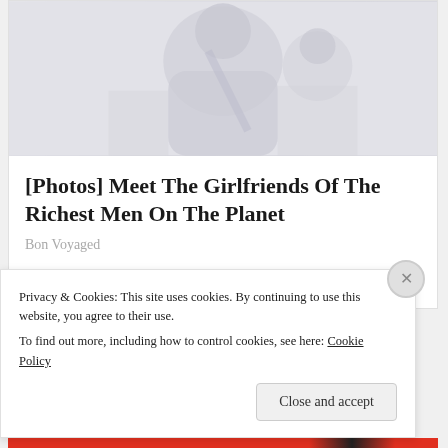[Figure (photo): Faded/washed-out photo of person(s) used as hero image for article]
[Photos] Meet The Girlfriends Of The Richest Men On The Planet
Bon Voyaged
Rate this: ☆☆☆☆☆ ⓘ Rate This
Privacy & Cookies: This site uses cookies. By continuing to use this website, you agree to their use.
To find out more, including how to control cookies, see here: Cookie Policy
Close and accept